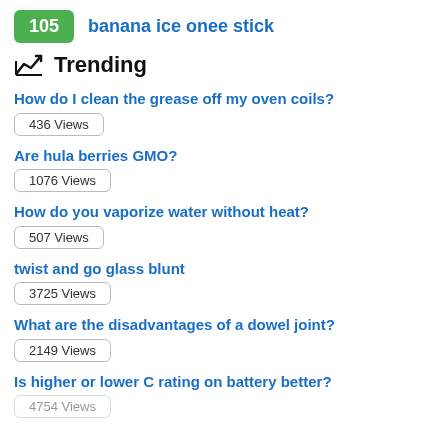105  banana ice onee stick
Trending
How do I clean the grease off my oven coils? — 436 Views
Are hula berries GMO? — 1076 Views
How do you vaporize water without heat? — 507 Views
twist and go glass blunt — 3725 Views
What are the disadvantages of a dowel joint? — 2149 Views
Is higher or lower C rating on battery better? — (views cut off)